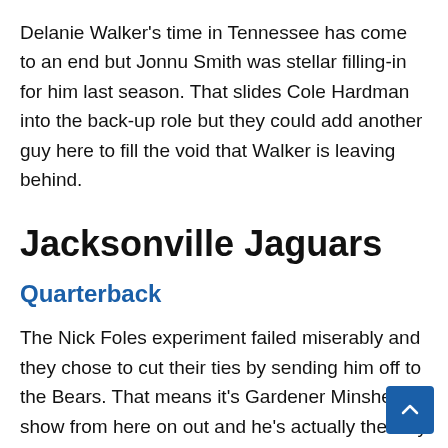Delanie Walker's time in Tennessee has come to an end but Jonnu Smith was stellar filling-in for him last season. That slides Cole Hardman into the back-up role but they could add another guy here to fill the void that Walker is leaving behind.
Jacksonville Jaguars
Quarterback
The Nick Foles experiment failed miserably and they chose to cut their ties by sending him off to the Bears. That means it's Gardener Minshew's show from here on out and he's actually the only QB currently under contract. That means they could be in the market for a